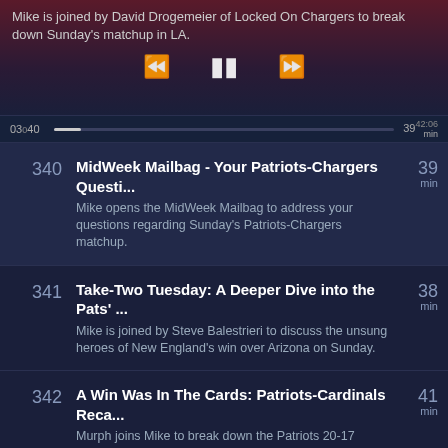Mike is joined by David Drogemeier of Locked On Chargers to break down Sunday's matchup in LA.
[Figure (screenshot): Media player controls: rewind, pause, fast-forward buttons with progress bar showing 0:30 of 42:06]
340 MidWeek Mailbag - Your Patriots-Chargers Questi... Mike opens the MidWeek Mailbag to address your questions regarding Sunday's Patriots-Chargers matchup. 39 min
341 Take-Two Tuesday: A Deeper Dive into the Pats' ... Mike is joined by Steve Balestrieri to discuss the unsung heroes of New England's win over Arizona on Sunday. 38 min
342 A Win Was In The Cards: Patriots-Cardinals Reca... Murph joins Mike to break down the Patriots 20-17 victory over the Arizona Cardinals in Week 12. 41 min
343 Crossover Friday - Patriots-Cardinals Preview a... Mike is joined by Bo Brack and Alex Clancy to preview Sunday's Patriots-Cardinals showdown. 31 min